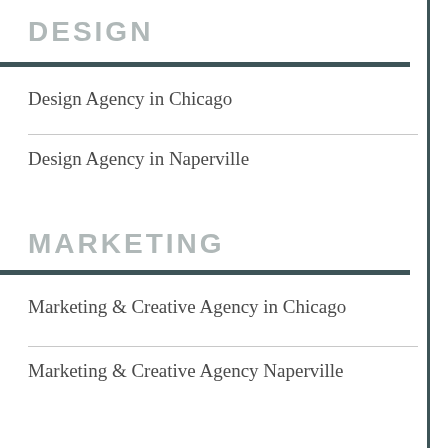DESIGN
Design Agency in Chicago
Design Agency in Naperville
MARKETING
Marketing & Creative Agency in Chicago
Marketing & Creative Agency Naperville